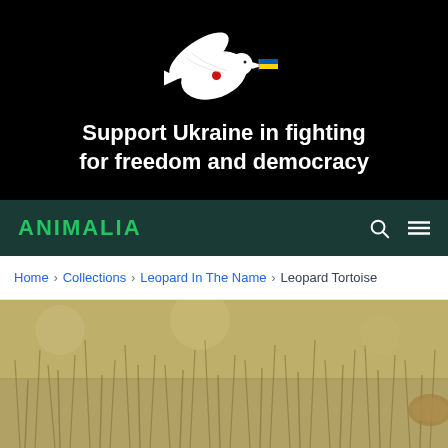[Figure (illustration): Black banner with white dove holding a Ukrainian flag in its beak and a red blood drop on its body, with text 'Support Ukraine in fighting for freedom and democracy']
Support Ukraine in fighting for freedom and democracy
ANIMALIA
Home > Collections > Leopard In The Name > Leopard Tortoise
[Figure (photo): Photo of dry grass field, partially showing a leopard tortoise]